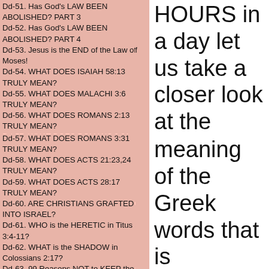Dd-51. Has God's LAW BEEN ABOLISHED? PART 3
Dd-52. Has God's LAW BEEN ABOLISHED? PART 4
Dd-53. Jesus is the END of the Law of Moses!
Dd-54. WHAT DOES ISAIAH 58:13 TRULY MEAN?
Dd-55. WHAT DOES MALACHI 3:6 TRULY MEAN?
Dd-56. WHAT DOES ROMANS 2:13 TRULY MEAN?
Dd-57. WHAT DOES ROMANS 3:31 TRULY MEAN?
Dd-58. WHAT DOES ACTS 21:23,24 TRULY MEAN?
Dd-59. WHAT DOES ACTS 28:17 TRULY MEAN?
Dd-60. ARE CHRISTIANS GRAFTED INTO ISRAEL?
Dd-61. WHO is the HERETIC in Titus 3:4-11?
Dd-62. WHAT is the SHADOW in Colossians 2:17?
Dd-63. 99 Reasons NOT to KEEP the Sabbath DAY! 1
Dd-64. 99 Reasons NOT to KEEP the Sabbath Day! 2
Dd-65. The SDA interpretation of the MILLENNIUM!
Dd-66. Is Sunday KEEPING The Mark of the BEAST
Dd-67. DID the 2300 DAYS in DANIEL END in 1844?
Dd-68. Is the INVESTIGATIVE JUDGMENT BIBLICAL
Dd-69. Is SATAN or Jesus the SCAPEGOAT for sins
Dd-70. WAS PAUL A JUDAIZING CHRISTIAN?
Dd-71. JESUS WORDS ONLY SABBATH TRUTH!
Dd-72. WHO ARE TWELVE APOSTLES OF JESUS?
Dd-73. Is PAUL a TRUE APOSTLE of JESUS? Part 1
Dd-74. Is PAUL a TRUE APOSTLE of JESUS? Part 2
HOURS in a day let us take a closer look at the meaning of the Greek words that is TRANSLATED as shortened.
When we look up the Greek word